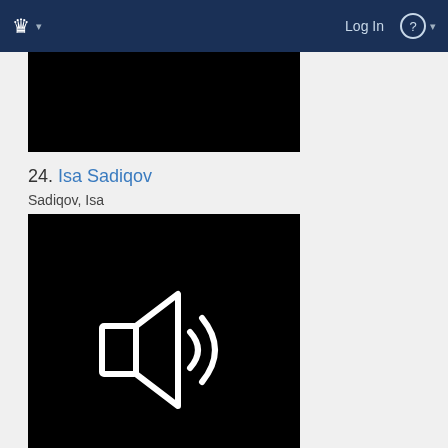Log In
[Figure (screenshot): Black video/media thumbnail at the top of the content area]
24. Isa Sadiqov
Sadiqov, Isa
[Figure (other): Black thumbnail with white audio/speaker icon showing sound waves]